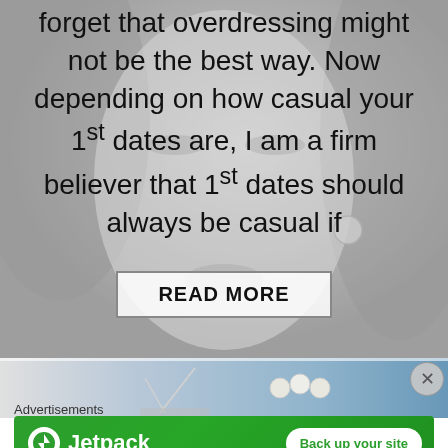[Figure (photo): Grayscale background photo of a woman's face, partially faded/lightened. Text overlay appears on top of the image.]
forget that overdressing might not be the best way. Now depending on how casual your 1st dates are, I am a firm believer that 1st dates should always be casual if
READ MORE
[Figure (photo): Partial image banner showing pearls and a blue aquatic background, likely an advertisement image strip.]
Advertisements
[Figure (other): Jetpack advertisement banner with green background, Jetpack logo on the left, and a 'Back up your site' white button on the right.]